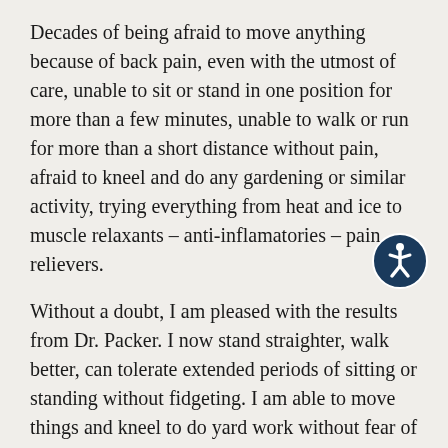Decades of being afraid to move anything because of back pain, even with the utmost of care, unable to sit or stand in one position for more than a few minutes, unable to walk or run for more than a short distance without pain, afraid to kneel and do any gardening or similar activity, trying everything from heat and ice to muscle relaxants – anti-inflamatories – pain relievers.
Without a doubt, I am pleased with the results from Dr. Packer. I now stand straighter, walk better, can tolerate extended periods of sitting or standing without fidgeting. I am able to move things and kneel to do yard work without fear of an unexpected zing in my back muscles. I am not qualified to explain how it happened in any